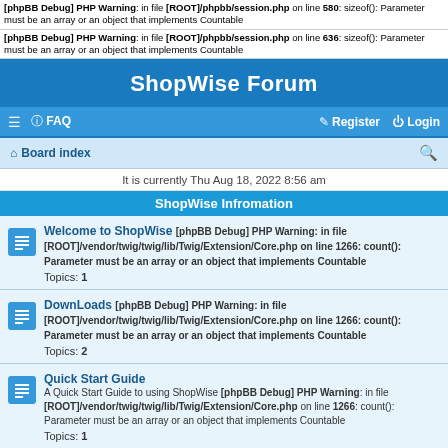[phpBB Debug] PHP Warning: in file [ROOT]/phpbb/session.php on line 580: sizeof(): Parameter must be an array or an object that implements Countable
[phpBB Debug] PHP Warning: in file [ROOT]/phpbb/session.php on line 636: sizeof(): Parameter must be an array or an object that implements Countable
ShopWise Forum
≡  FAQ  Register  Login
Board index  🔍
It is currently Thu Aug 18, 2022 8:56 am
ShopWise Infromation
Welcome to ShopWise [phpBB Debug] PHP Warning: in file [ROOT]/vendor/twig/twig/lib/Twig/Extension/Core.php on line 1266: count(): Parameter must be an array or an object that implements Countable
Topics: 1
DownLoads [phpBB Debug] PHP Warning: in file [ROOT]/vendor/twig/twig/lib/Twig/Extension/Core.php on line 1266: count(): Parameter must be an array or an object that implements Countable
Topics: 2
Quick Start Guide
A Quick Start Guide to using ShopWise [phpBB Debug] PHP Warning: in file [ROOT]/vendor/twig/twig/lib/Twig/Extension/Core.php on line 1266: count(): Parameter must be an array or an object that implements Countable
Topics: 1